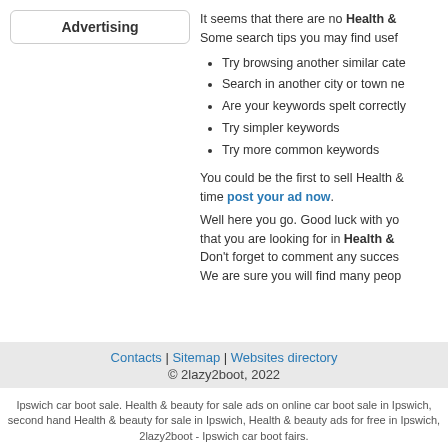Advertising
It seems that there are no Health & Some search tips you may find usef
Try browsing another similar cate
Search in another city or town ne
Are your keywords spelt correctly
Try simpler keywords
Try more common keywords
You could be the first to sell Health & time post your ad now.
Well here you go. Good luck with yo that you are looking for in Health & Don't forget to comment any succes We are sure you will find many peop
Contacts | Sitemap | Websites directory
© 2lazy2boot, 2022
Ipswich car boot sale. Health & beauty for sale ads on online car boot sale in Ipswich, second hand Health & beauty for sale in Ipswich, Health & beauty ads for free in Ipswich, 2lazy2boot - Ipswich car boot fairs.